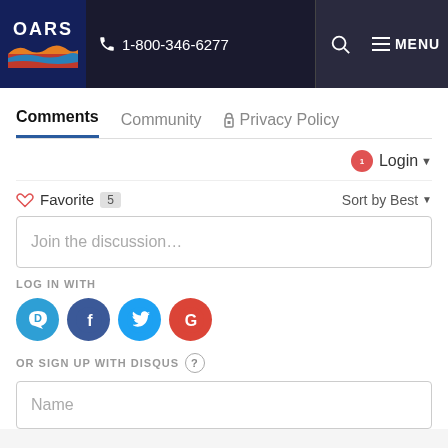[Figure (logo): OARS logo with wave graphic on dark blue background]
1-800-346-6277
MENU
Comments
Community
Privacy Policy
1 Login
Favorite 5
Sort by Best
Join the discussion...
LOG IN WITH
[Figure (logo): Social login icons: Disqus, Facebook, Twitter, Google]
OR SIGN UP WITH DISQUS
Name